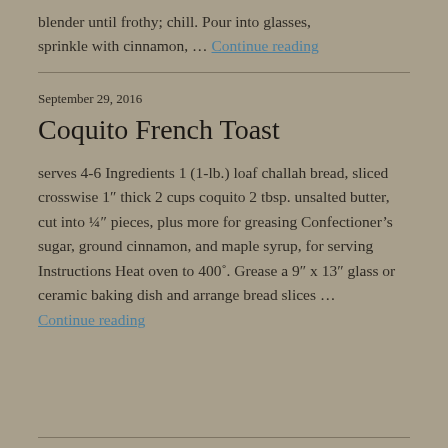blender until frothy; chill. Pour into glasses, sprinkle with cinnamon, … Continue reading
September 29, 2016
Coquito French Toast
serves 4-6 Ingredients 1 (1-lb.) loaf challah bread, sliced crosswise 1″ thick 2 cups coquito 2 tbsp. unsalted butter, cut into ¼″ pieces, plus more for greasing Confectioner's sugar, ground cinnamon, and maple syrup, for serving Instructions Heat oven to 400˚. Grease a 9″ x 13″ glass or ceramic baking dish and arrange bread slices … Continue reading